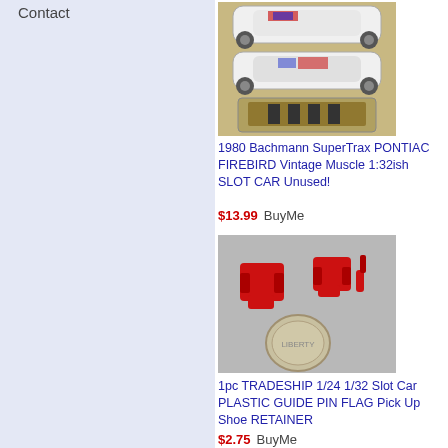Contact
[Figure (photo): Photo of a 1980 Bachmann SuperTrax Pontiac Firebird slot car shown from three angles: top view, side view, and undercarriage view on a ruler]
1980 Bachmann SuperTrax PONTIAC FIREBIRD Vintage Muscle 1:32ish SLOT CAR Unused!
$13.99  BuyMe
[Figure (photo): Photo of red plastic guide pin flag pick up shoe retainers (2 pieces) next to a coin for scale]
1pc TRADESHIP 1/24 1/32 Slot Car PLASTIC GUIDE PIN FLAG Pick Up Shoe RETAINER
$2.75  BuyMe